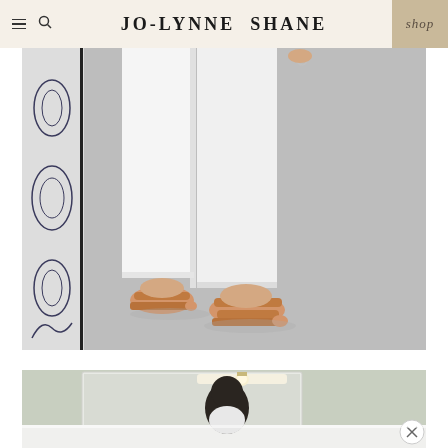JO-LYNNE SHANE | shop
[Figure (photo): Close-up photo of a woman's legs wearing white cropped jeans and tan/caramel leather slide sandals with double straps, standing on a grey carpeted floor with a decorative black and white wallpaper panel visible on the left side.]
[Figure (photo): Partial photo of a bathroom interior with a mirror, white vanity, and a light fixture visible, with a person partially visible in the reflection. A circular close button overlay is visible in the bottom right corner.]